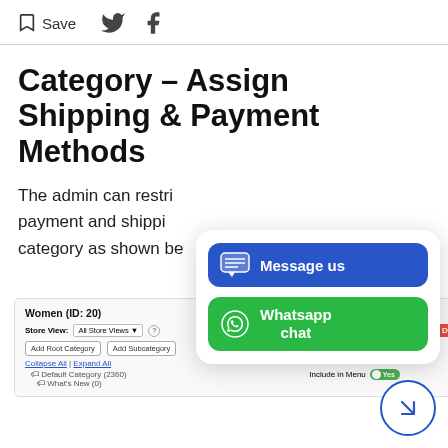Save  [Twitter icon]  [Facebook icon]
Category – Assign Shipping & Payment Methods
The admin can restrict payment and shipping category as shown be…
[Figure (screenshot): Magento admin category panel showing Women (ID: 20) with Store View, Add Root Category, Add Subcategory, Collapse All, Expand All, Default Category tree, Enable Category toggle (Yes), Include in Menu toggle (Yes), and Delete button]
[Figure (infographic): Chat popup overlay with 'Message us' blue button and 'Whatsapp chat' green button, and a navigation arrow circle in bottom right]